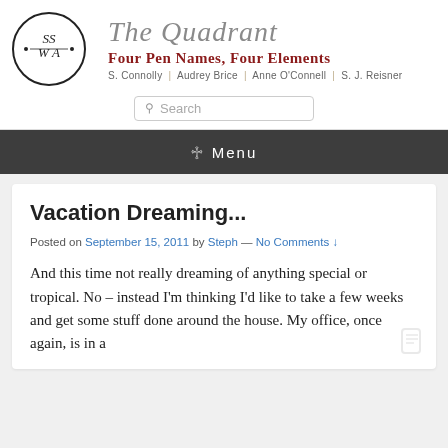[Figure (logo): Circular logo with letters SSWA in decorative script style]
The Quadrant
Four Pen Names, Four Elements
S. Connolly | Audrey Brice | Anne O'Connell | S. J. Reisner
Search
Menu
Vacation Dreaming...
Posted on September 15, 2011 by Steph — No Comments ↓
And this time not really dreaming of anything special or tropical. No – instead I'm thinking I'd like to take a few weeks and get some stuff done around the house. My office, once again, is in a